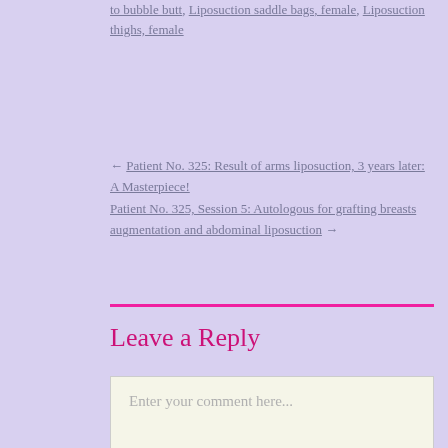... category: Brazilian transformation, Fat to bubble butt, Liposuction saddle bags, female, Liposuction thighs, female
← Patient No. 325: Result of arms liposuction, 3 years later: A Masterpiece!
Patient No. 325, Session 5: Autologous for grafting breasts augmentation and abdominal liposuction →
Leave a Reply
Enter your comment here...